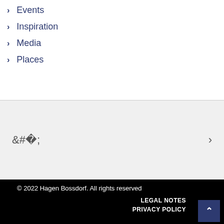Events
Inspiration
Media
Places
© 2022 Hagen Bossdorf. All rights reserved
LEGAL NOTES
PRIVACY POLICY